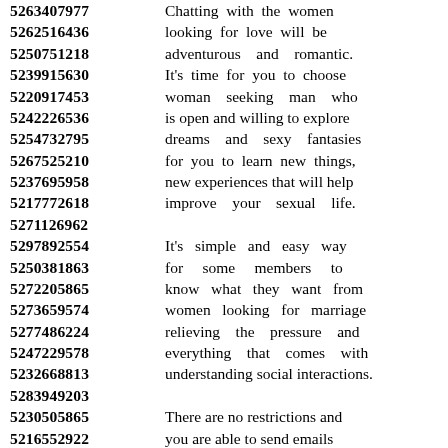5263407977 Chatting with the women
5262516436 looking for love will be
5250751218 adventurous and romantic.
5239915630 It's time for you to choose
5220917453 woman seeking man who
5242226536 is open and willing to explore
5254732795 dreams and sexy fantasies
5267525210 for you to learn new things,
5237695958 new experiences that will help
5217772618 improve your sexual life.
5271126962
5297892554 It's simple and easy way
5250381863 for some members to
5272205865 know what they want from
5273659574 women looking for marriage
5277486224 relieving the pressure and
5247229578 everything that comes with
5232668813 understanding social interactions.
5283949203
5230505865 There are no restrictions and
5216552922 you are able to send emails
5220897434 to as many as you need
5228104374 without them finding out.
5234135852 You have an alternative of
5227379334 reading and sending messages
5293469819 to an unlimited number of